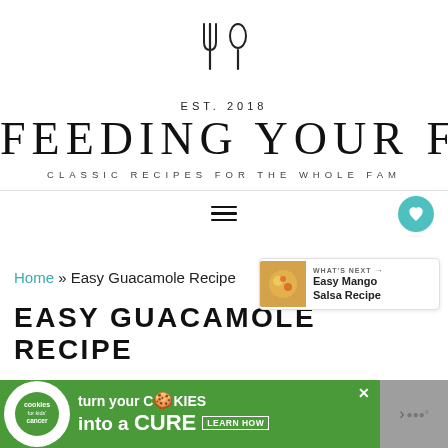[Figure (logo): Fork and spoon utensil icon, outline style]
EST. 2018
FEEDING YOUR FAM
CLASSIC RECIPES FOR THE WHOLE FAM
[Figure (other): Navigation bar with hamburger menu icon and teal heart button]
Home » Easy Guacamole Recipe
[Figure (photo): What's Next panel showing Easy Mango Salsa Recipe thumbnail]
EASY GUACAMOLE RECIPE
[Figure (other): Advertisement banner: cookies for kids cancer - turn your cookies into a CURE LEARN HOW]